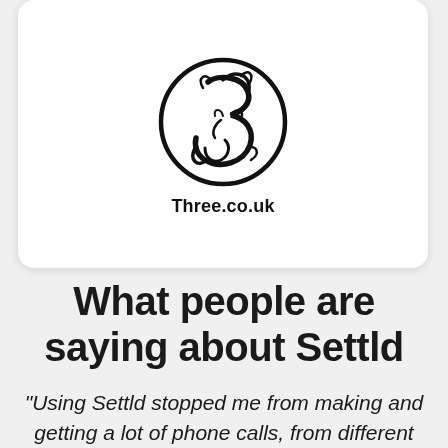[Figure (logo): Three.co.uk logo — stylized number 3 with flame/wing motifs inside a circle, bold black on white, with text 'Three.co.uk' beneath]
What people are saying about Settld
“Using Settld stopped me from making and getting a lot of phone calls, from different companies, asking questions and asking me to